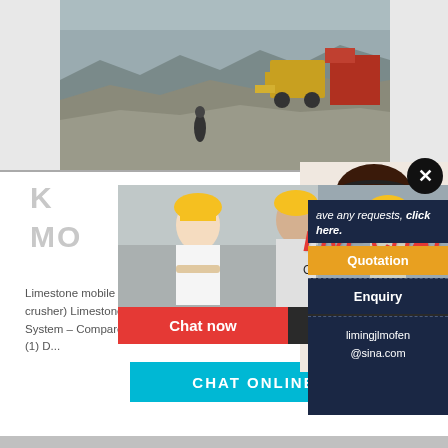[Figure (photo): Aerial view of a quarry/mine site with construction vehicles including a yellow loader/bulldozer and red machinery on rocky terrain]
K
MO
[Figure (photo): Live chat popup overlay showing three workers in yellow hard hats with text 'LIVE CHAT - Click for a Free Consultation', with Chat now (red) and Chat later (dark) buttons]
[Figure (photo): Customer service agent woman with headset smiling, shown on right dark panel sidebar]
Limestone mobile crusher (Krupp Fordertechnik dou... TPH hammer crusher) Limestone mobile crusher cru... roller crusher 2– unit) ... Ninja System – Compare P... and Buy at Nextag. Crushing (1) Day (1) Dough (1) D...
ave any requests, click here.
Quotation
Enquiry
limingjlmofen
@sina.com
CHAT ONLINE